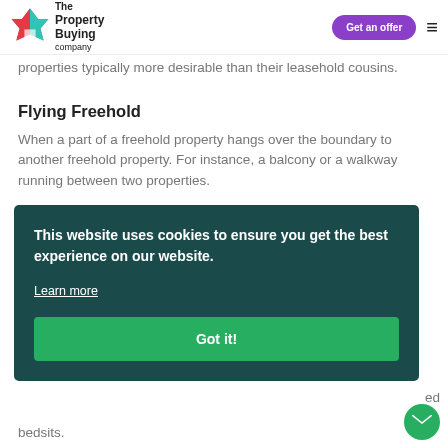The Property Buying Company — Get an offer
properties typically more desirable than their leasehold cousins.
Flying Freehold
When a part of a freehold property hangs over the boundary to another freehold property. For instance, a balcony or a walkway running between two properties.
G
This website uses cookies to ensure you get the best experience on our website.
Learn more
Got it!
bedsits.